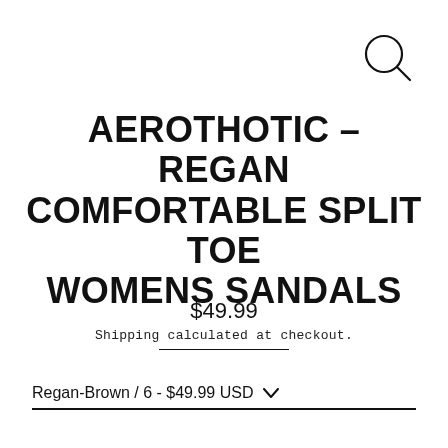[Figure (other): Search icon — circle with magnifying glass handle, top-right corner]
AEROTHOTIC – REGAN COMFORTABLE SPLIT TOE WOMENS SANDALS
$49.99
Shipping calculated at checkout.
Regan-Brown / 6 - $49.99 USD